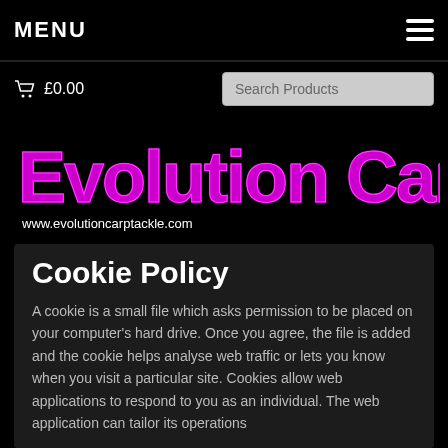MENU
£0.00
Search Products
[Figure (logo): Evolution Carp Tackle logo with pink stylized text and website URL www.evolutioncarptackle.com]
Cookie Policy
A cookie is a small file which asks permission to be placed on your computer's hard drive. Once you agree, the file is added and the cookie helps analyse web traffic or lets you know when you visit a particular site. Cookies allow web applications to respond to you as an individual. The web application can tailor its operations